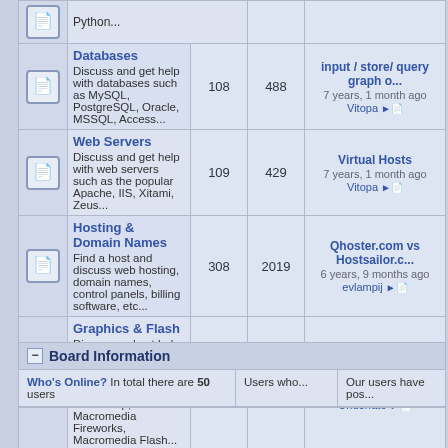|  | Forum | Topics | Posts | Last Post |
| --- | --- | --- | --- | --- |
|  | Databases
Discuss and get help with databases such as MySQL, PostgreSQL, Oracle, MSSQL, Access... | 108 | 488 | input / store/ query graph o...
7 years, 1 month ago
Vitopa |
|  | Web Servers
Discuss and get help with web servers such as the popular Apache, IIS, Xitami, Zeus... | 109 | 429 | Virtual Hosts
7 years, 1 month ago
Vitopa |
|  | Hosting & Domain Names
Find a host and discuss web hosting, domain names, control panels, billing software, etc... | 308 | 2019 | Qhoster.com vs Hostsailor.c...
6 years, 9 months ago
evlampij |
|  | Graphics & Flash
Discuss and get help with graphics and Flash, using software such as Jasc Paint Shop Pro, Adobe Photoshop, Macromedia Fireworks, Macromedia Flash... | 66 | 354 | Making page adapt to monit...
7 years, 3 months ago
Underfate |
Board Information
Who's Online? In total there are 50 users